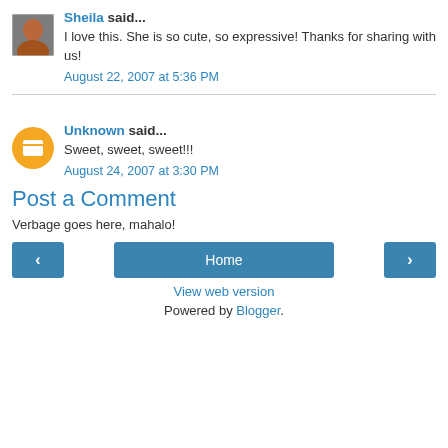Sheila said... I love this. She is so cute, so expressive! Thanks for sharing with us! August 22, 2007 at 5:36 PM
Unknown said... Sweet, sweet, sweet!!! August 24, 2007 at 3:30 PM
Post a Comment
Verbage goes here, mahalo!
Home | View web version | Powered by Blogger.